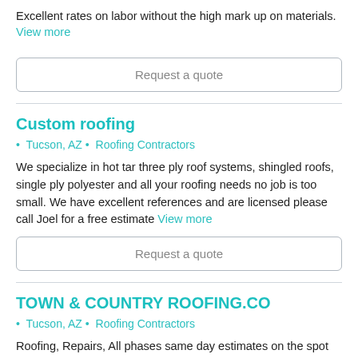Excellent rates on labor without the high mark up on materials.
View more
Request a quote
Custom roofing
• Tucson, AZ • Roofing Contractors
We specialize in hot tar three ply roof systems, shingled roofs, single ply polyester and all your roofing needs no job is too small. We have excellent references and are licensed please call Joel for a free estimate View more
Request a quote
TOWN & COUNTRY ROOFING.CO
• Tucson, AZ • Roofing Contractors
Roofing, Repairs, All phases same day estimates on the spot repairs 40 years in business right here in Tucson 24 hours service